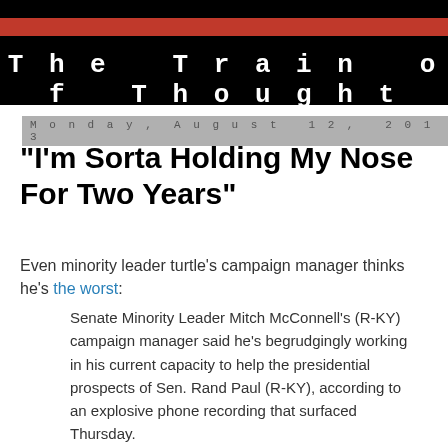The Train of Thought
Monday, August 12, 2013
"I'm Sorta Holding My Nose For Two Years"
Even minority leader turtle's campaign manager thinks he's the worst:
Senate Minority Leader Mitch McConnell's (R-KY) campaign manager said he's begrudgingly working in his current capacity to help the presidential prospects of Sen. Rand Paul (R-KY), according to an explosive phone recording that surfaced Thursday.